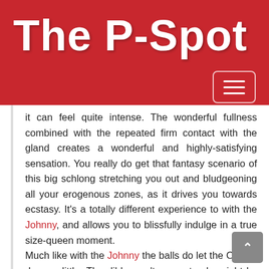The P-Spot
it can feel quite intense. The wonderful fullness combined with the repeated firm contact with the gland creates a wonderful and highly-satisfying sensation. You really do get that fantasy scenario of this big schlong stretching you out and bludgeoning all your erogenous zones, as it drives you towards ecstasy. It’s a totally different experience to with the Johnny, and allows you to blissfully indulge in a true size-queen moment.
Much like with the Johnny the balls do let the Outlaw down a little. The dildo won’t even stand upright by itself once they’ve begun to curl up, so